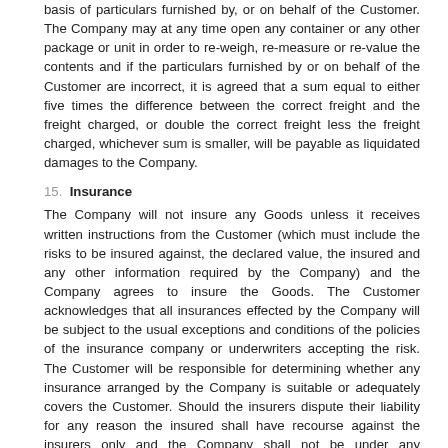basis of particulars furnished by, or on behalf of the Customer. The Company may at any time open any container or any other package or unit in order to re-weigh, re-measure or re-value the contents and if the particulars furnished by or on behalf of the Customer are incorrect, it is agreed that a sum equal to either five times the difference between the correct freight and the freight charged, or double the correct freight less the freight charged, whichever sum is smaller, will be payable as liquidated damages to the Company.
15. Insurance
The Company will not insure any Goods unless it receives written instructions from the Customer (which must include the risks to be insured against, the declared value, the insured and any other information required by the Company) and the Company agrees to insure the Goods. The Customer acknowledges that all insurances effected by the Company will be subject to the usual exceptions and conditions of the policies of the insurance company or underwriters accepting the risk. The Customer will be responsible for determining whether any insurance arranged by the Company is suitable or adequately covers the Customer. Should the insurers dispute their liability for any reason the insured shall have recourse against the insurers only and the Company shall not be under any responsibility or liability in relation to the insurance, notwithstanding that the premium upon the policy may be different to that charged by the Company for arranging the insurance.